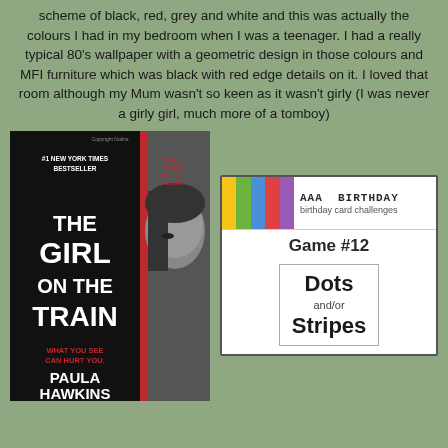scheme of black, red, grey and white and this was actually the colours I had in my bedroom when I was a teenager. I had a really typical 80's wallpaper with a geometric design in those colours and MFI furniture which was black with red edge details on it. I loved that room although my Mum wasn't so keen as it wasn't girly (I was never a girly girl, much more of a tomboy)
[Figure (photo): Book cover of 'The Girl on the Train' by Paula Hawkins. #1 New York Times Bestseller. Now a Major Motion Picture. Features a woman's face and the tagline 'What You See Can Hurt You.']
[Figure (photo): AAA Birthday card challenges badge with colored stripes (yellow, green, blue, red, purple). Game #12 challenge card showing 'Dots and/or Stripes']